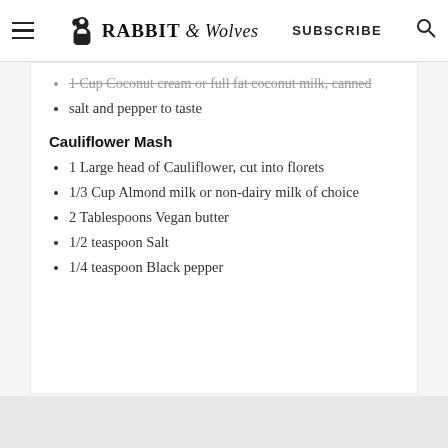Rabbit & Wolves | SUBSCRIBE
1 Cup Coconut cream or full fat coconut milk, canned
salt and pepper to taste
Cauliflower Mash
1 Large head of Cauliflower, cut into florets
1/3 Cup Almond milk or non-dairy milk of choice
2 Tablespoons Vegan butter
1/2 teaspoon Salt
1/4 teaspoon Black pepper